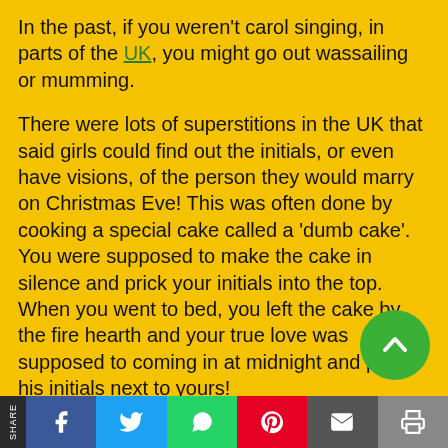In the past, if you weren't carol singing, in parts of the UK, you might go out wassailing or mumming.
There were lots of superstitions in the UK that said girls could find out the initials, or even have visions, of the person they would marry on Christmas Eve! This was often done by cooking a special cake called a 'dumb cake'. You were supposed to make the cake in silence and prick your initials into the top. When you went to bed, you left the cake by the fire hearth and your true love was supposed to coming in at midnight and prick his initials next to yours!
Other Christmas Eve superstitions included that farm and wild animals would kneel at midnight in
[Figure (other): Social share bar at the bottom with SHARE label and icons for Facebook, Twitter, WhatsApp, Pinterest, Email, Print]